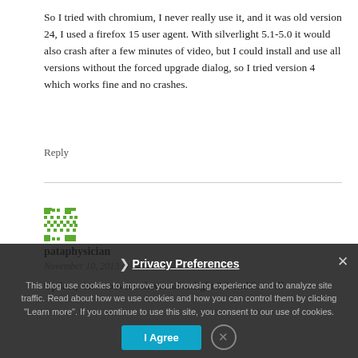So I tried with chromium, I never really use it, and it was old version 24, I used a firefox 15 user agent. With silverlight 5.1-5.0 it would also crash after a few minutes of video, but I could install and use all versions without the forced upgrade dialog, so I tried version 4 which works fine and no crashes.
Reply
[Figure (illustration): Green pixel-art style avatar icon for user pataphysician]
pataphysician
November 10, 2013 at 17:46
Update, with nouveau driver silverlight 5.1 and 5.0 will
This blog use cookies to improve your browsing experience and to analyze site traffic. Read about how we use cookies and how you can control them by clicking "Learn more". If you continue to use this site, you consent to our use of cookies.
Privacy Preferences
I Agree